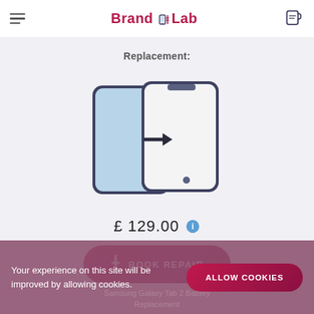BrandLab
Replacement:
[Figure (illustration): Two smartphones overlapping with an arrow between them indicating screen replacement — left phone has blue screen, right phone has white/blank screen]
£ 129.00
BOOK REPAIR
Your experience on this site will be improved by allowing cookies.
ALLOW COOKIES